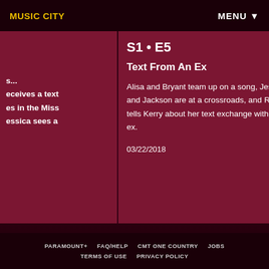MUSIC CITY | MENU
s... eceives a text es in the Miss essica sees a
S1 • E5
Text From An Ex
Alisa and Bryant team up on a song, Jessica and Jackson are at a crossroads, and Rachyl tells Kerry about her text exchange with an ex.
03/22/2018
PARAMOUNT+ | FAQ/HELP | CMT ONE COUNTRY | JOBS | TERMS OF USE | PRIVACY POLICY